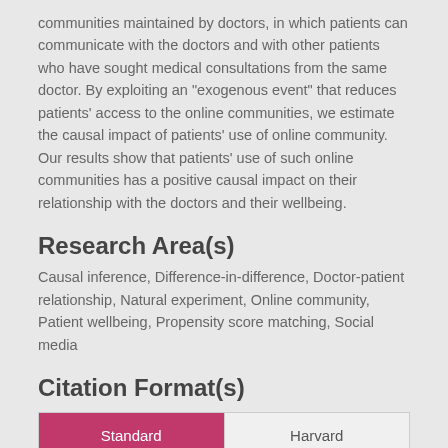communities maintained by doctors, in which patients can communicate with the doctors and with other patients who have sought medical consultations from the same doctor. By exploiting an "exogenous event" that reduces patients' access to the online communities, we estimate the causal impact of patients' use of online community. Our results show that patients' use of such online communities has a positive causal impact on their relationship with the doctors and their wellbeing.
Research Area(s)
Causal inference, Difference-in-difference, Doctor-patient relationship, Natural experiment, Online community, Patient wellbeing, Propensity score matching, Social media
Citation Format(s)
| Standard | Harvard |
| --- | --- |
| APA | Vancouver |